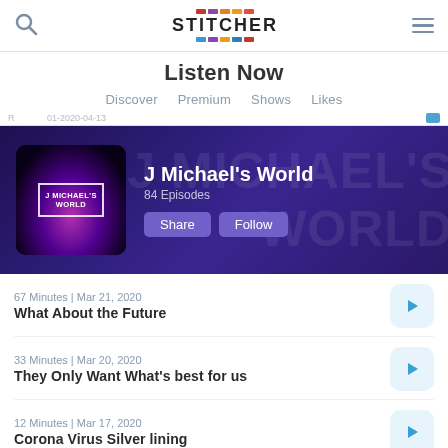Stitcher – Listen Now
Listen Now
Discover  Premium  Shows  Likes
[Figure (screenshot): J Michael's World podcast banner on Stitcher. Purple/dark background with large translucent text 'J MICHAEL'S WORLD'. Podcast artwork on the left. Title: J Michael's World. 84 Episodes. Share and Follow buttons.]
67 Minutes | Mar 21, 2020 — What About the Future
33 Minutes | Mar 20, 2020 — They Only Want What's best for us
12 Minutes | Mar 17, 2020 — Corona Virus Silver lining